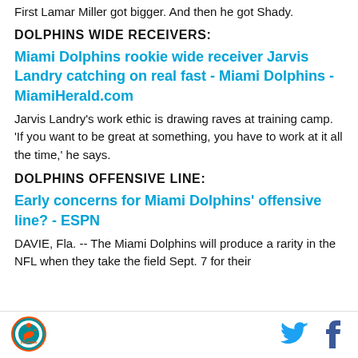First Lamar Miller got bigger. And then he got Shady.
DOLPHINS WIDE RECEIVERS:
Miami Dolphins rookie wide receiver Jarvis Landry catching on real fast - Miami Dolphins - MiamiHerald.com
Jarvis Landry's work ethic is drawing raves at training camp. 'If you want to be great at something, you have to work at it all the time,' he says.
DOLPHINS OFFENSIVE LINE:
Early concerns for Miami Dolphins' offensive line? - ESPN
DAVIE, Fla. -- The Miami Dolphins will produce a rarity in the NFL when they take the field Sept. 7 for their
[Figure (logo): Miami Dolphins circular team logo with dolphin and sun]
[Figure (logo): Twitter bird icon in teal/cyan color]
[Figure (logo): Facebook 'f' icon in dark color]